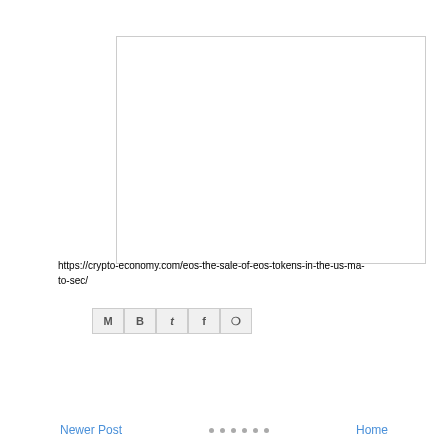[Figure (other): Blank white image placeholder with light gray border]
https://crypto-economy.com/eos-the-sale-of-eos-tokens-in-the-us-ma-to-sec/
[Figure (other): Social sharing buttons: Email (M), Blogger (B), Twitter (t), Facebook (f), Pinterest (P)]
Newer Post   Home